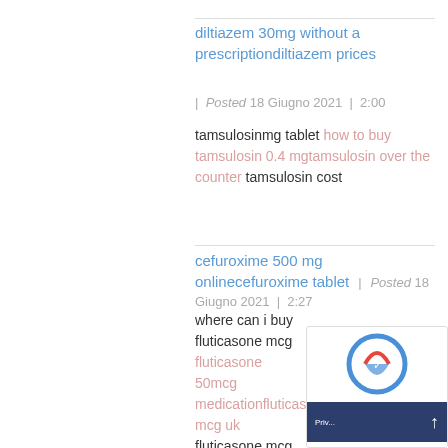diltiazem 30mg without a prescriptiondiltiazem prices
| Posted 18 Giugno 2021 | 2:00
tamsulosinmg tablet how to buy tamsulosin 0.4 mgtamsulosin over the counter tamsulosin cost
cefuroxime 500 mg onlinecefuroxime tablet | Posted 18 Giugno 2021 | 2:27
where can i buy fluticasone mcg fluticasone 50mcg medicationfluticasone mcg uk fluticasone mcg without a prescription